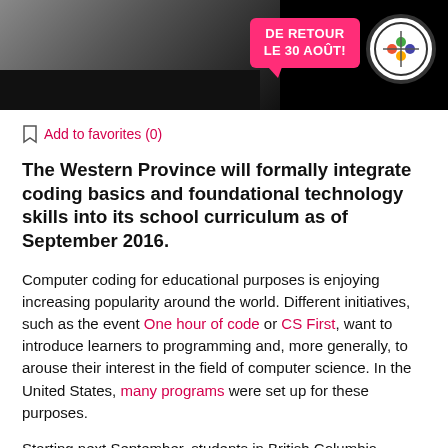[Figure (photo): Banner advertisement with black background, pink speech bubble saying 'DE RETOUR LE 30 AOÛT!' and a circular logo on the right]
Add to favorites (0)
The Western Province will formally integrate coding basics and foundational technology skills into its school curriculum as of September 2016.
Computer coding for educational purposes is enjoying increasing popularity around the world. Different initiatives, such as the event One hour of code or CS First, want to introduce learners to programming and, more generally, to arouse their interest in the field of computer science. In the United States, many programs were set up for these purposes.
Starting next September, students in British Columbia